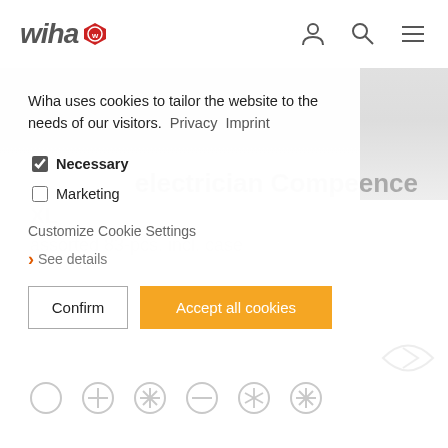wiha [logo] — navigation icons
[Figure (photo): Partially visible product image of a tool case with tools, greyed out in background]
Wiha uses cookies to tailor the website to the needs of our visitors.  Privacy  Imprint
☑ Necessary
☐ Marketing
Customize Cookie Settings
› See details
Confirm   Accept all cookies
electrician Competence
XL
assorted 83-pcs. incl. case
[Figure (illustration): Row of screwdriver tip icons: circle, plus, star, minus, asterisk, cross]